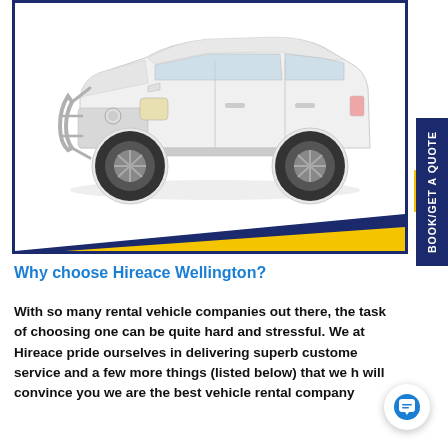[Figure (photo): White SUV/pickup truck with bull bar, photographed at a slight angle showing front and passenger side, on a light background. Vehicle has chrome details, running boards, and alloy wheels.]
Why choose Hireace Wellington?
With so many rental vehicle companies out there, the task of choosing one can be quite hard and stressful. We at Hireace pride ourselves in delivering superb customer service and a few more things (listed below) that we hope will convince you we are the best vehicle rental company